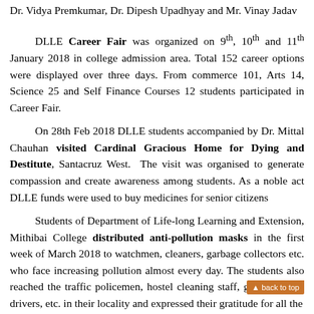Dr. Vidya Premkumar, Dr. Dipesh Upadhyay and Mr. Vinay Jadav
DLLE Career Fair was organized on 9th, 10th and 11th January 2018 in college admission area. Total 152 career options were displayed over three days. From commerce 101, Arts 14, Science 25 and Self Finance Courses 12 students participated in Career Fair.
On 28th Feb 2018 DLLE students accompanied by Dr. Mittal Chauhan visited Cardinal Gracious Home for Dying and Destitute, Santacruz West. The visit was organised to generate compassion and create awareness among students. As a noble act DLLE funds were used to buy medicines for senior citizens
Students of Department of Life-long Learning and Extension, Mithibai College distributed anti-pollution masks in the first week of March 2018 to watchmen, cleaners, garbage collectors etc. who face increasing pollution almost every day. The students also reached the traffic policemen, hostel cleaning staff, garbage truck drivers, etc. in their locality and expressed their gratitude for all the